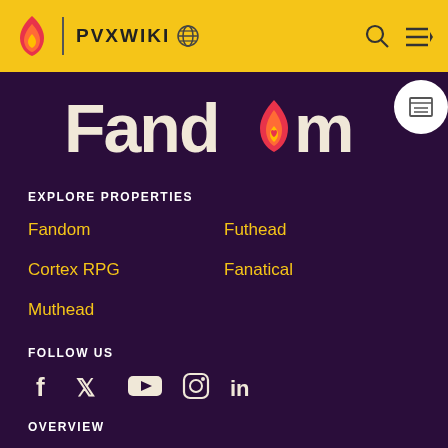PVXWIKI
[Figure (logo): Fandom logo with flame icon on dark purple background]
EXPLORE PROPERTIES
Fandom
Futhead
Cortex RPG
Fanatical
Muthead
FOLLOW US
[Figure (infographic): Social media icons: Facebook, Twitter, YouTube, Instagram, LinkedIn]
OVERVIEW